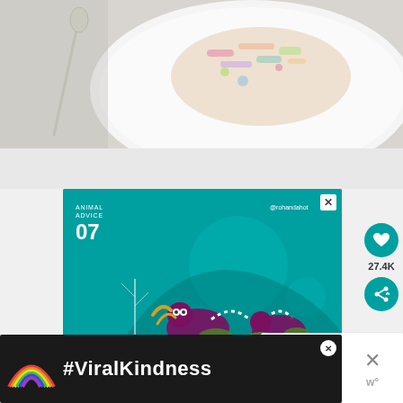[Figure (photo): Top-down photo of a white plate with a colorful salad/food dish and a silver spoon/knife visible on the left side. Background is light gray/white.]
[Figure (illustration): Teal-colored advertisement with 'ANIMAL ADVICE 07' label, @rohandahot handle, illustrated animals (lemurs/foxes) in a stylized jungle/curve scene. Text reads 'FLATTEN THE CURVE' in large purple letters and 'Your actions in the next few weeks can determine the outcome of this year. We can end this quickly.' in white below. Close X button in top right.]
[Figure (photo): Small thumbnail of food (crab cake or similar) for a 'WHAT'S NEXT' sidebar link labeled 'Jumbo Lump Maryland Cr...']
[Figure (screenshot): Bottom advertisement banner with dark background showing a rainbow illustration and '#ViralKindness' text in large white bold font. Has a close X button and a right panel with X mark and 'w' watermark icon.]